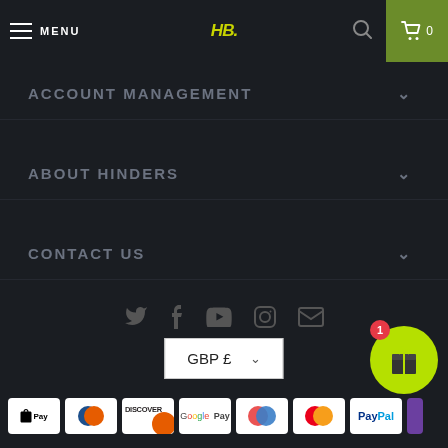MENU | HB | 🔍 | 🛒 0
ACCOUNT MANAGEMENT
ABOUT HINDERS
CONTACT US
[Figure (infographic): Social media icons: Twitter, Facebook, YouTube, Instagram, Email]
GBP £
© 2022 Hinders Baits. Registration: 04546599; VAT no: 194261160
Powered by Shopify
[Figure (infographic): Payment method icons: Apple Pay, Diners Club, Discover, Google Pay, Maestro, Mastercard, PayPal, and partial Visa visible]